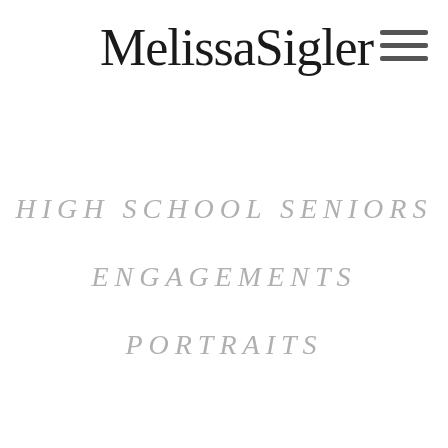MelissaSigler
HIGH SCHOOL SENIORS
ENGAGEMENTS
PORTRAITS